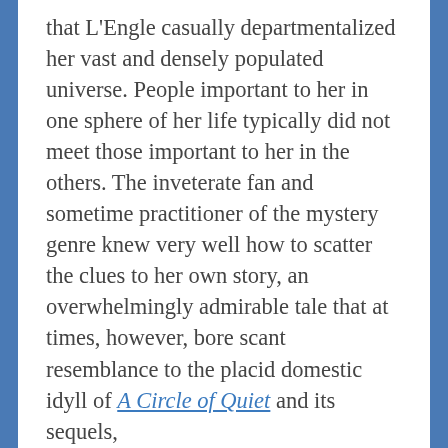that L'Engle casually departmentalized her vast and densely populated universe. People important to her in one sphere of her life typically did not meet those important to her in the others. The inveterate fan and sometime practitioner of the mystery genre knew very well how to scatter the clues to her own story, an overwhelmingly admirable tale that at times, however, bore scant resemblance to the placid domestic idyll of A Circle of Quiet and its sequels,